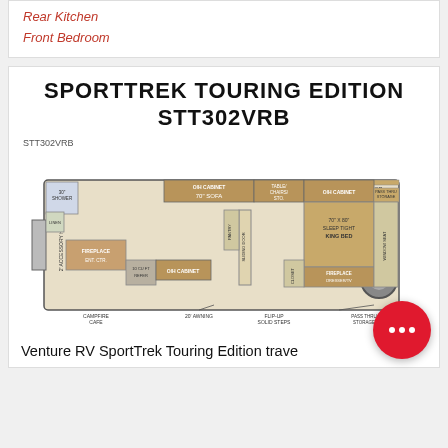Rear Kitchen
Front Bedroom
SPORTTREK TOURING EDITION
STT302VRB
[Figure (engineering-diagram): Floor plan diagram of the Sporttrek Touring Edition STT302VRB travel trailer, showing room layout including O/H Cabinet, 70" Sofa, Table/Chairs, O/H Cabinet, Trunk Door, Pass Thru Storage, 30" Shower, Linen, Fireplace/Ent. Ctr., 10 CU FT Refer, O/H Cabinet, King Bed 70"x80" Sleep Tight, Fireplace/Dresser/TV, Window Seat, 2" Accessory Hitch, Campfire Cafe, 20' Awning, Flip-Up Solid Steps, Pass Thru Storage, Sliding Door. Label: STT302VRB]
Venture RV SportTrek Touring Edition trave